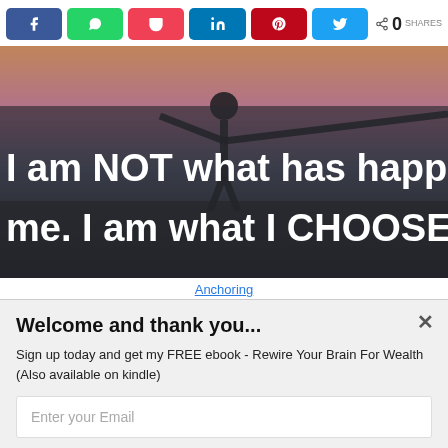Social share bar with Facebook, WhatsApp, Pocket, LinkedIn, Pinterest, Twitter buttons and 0 SHARES
[Figure (photo): Motivational quote image with dark silhouette background and sunset: 'I am NOT what has happened to me. I am what I CHOOSE to be']
Anchoring
Welcome and thank you...
Sign up today and get my FREE ebook - Rewire Your Brain For Wealth (Also available on kindle)
Enter your Email
yes please i would love your book